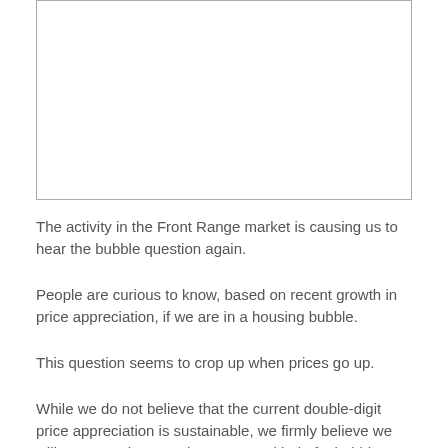[Figure (other): Empty white box with border, likely a chart or image placeholder]
The activity in the Front Range market is causing us to hear the bubble question again.
People are curious to know, based on recent growth in price appreciation, if we are in a housing bubble.
This question seems to crop up when prices go up.
While we do not believe that the current double-digit price appreciation is sustainable, we firmly believe we will not see prices crash or see any kind of a bubble